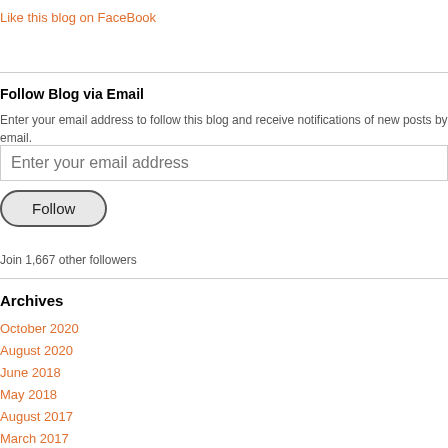Like this blog on FaceBook
Follow Blog via Email
Enter your email address to follow this blog and receive notifications of new posts by email.
Enter your email address
Follow
Join 1,667 other followers
Archives
October 2020
August 2020
June 2018
May 2018
August 2017
March 2017
February 2017
January 2017
November 2016